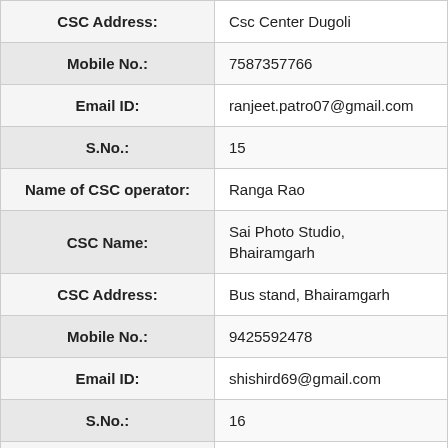| Field | Value |
| --- | --- |
| CSC Address: | Csc Center Dugoli |
| Mobile No.: | 7587357766 |
| Email ID: | ranjeet.patro07@gmail.com |
| S.No.: | 15 |
| Name of CSC operator: | Ranga Rao |
| CSC Name: | Sai Photo Studio, Bhairamgarh |
| CSC Address: | Bus stand, Bhairamgarh |
| Mobile No.: | 9425592478 |
| Email ID: | shishird69@gmail.com |
| S.No.: | 16 |
| Name of CSC operator: | Yogesh Bisoi |